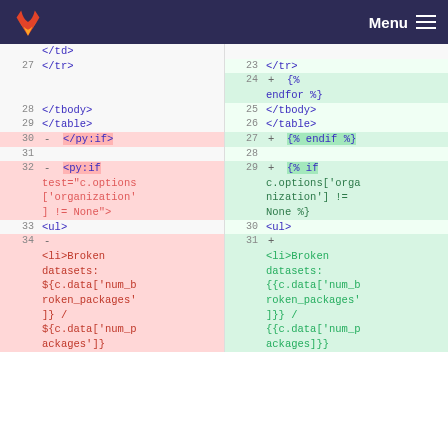GitLab logo | Menu
[Figure (screenshot): Code diff view showing two columns of line-numbered source code. Left side shows old version with deletions (red), right side shows new version with additions (green). Lines 27-34 on left and 23-31 on right are visible.]